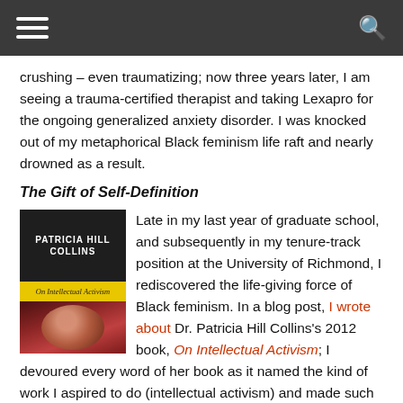[navigation bar with hamburger menu and search icon]
crushing – even traumatizing; now three years later, I am seeing a trauma-certified therapist and taking Lexapro for the ongoing generalized anxiety disorder. I was knocked out of my metaphorical Black feminism life raft and nearly drowned as a result.
The Gift of Self-Definition
[Figure (photo): Book cover of 'On Intellectual Activism' by Patricia Hill Collins, showing her name at top, a yellow band with the book title in italic script, and a photo of the author below.]
Late in my last year of graduate school, and subsequently in my tenure-track position at the University of Richmond, I rediscovered the life-giving force of Black feminism. In a blog post, I wrote about Dr. Patricia Hill Collins's 2012 book, On Intellectual Activism; I devoured every word of her book as it named the kind of work I aspired to do (intellectual activism) and made such work seem like a natural extension of the career of Black feminist scholars. Her book reintroduced me to the core components of Black feminist theory, which she articulated in her book, Black Feminist Thought – in